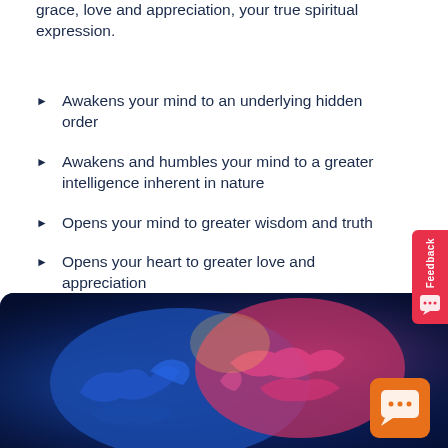grace, love and appreciation, your true spiritual expression.
Awakens your mind to an underlying hidden order
Awakens and humbles your mind to a greater intelligence inherent in nature
Opens your mind to greater wisdom and truth
Opens your heart to greater love and appreciation
[Figure (photo): Colorful 3D rendered brain with blue left hemisphere and pink/red right hemisphere on a dark blue background, with an orange chat bubble icon in the bottom right corner.]